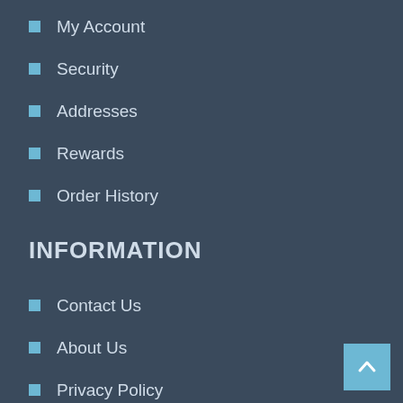My Account
Security
Addresses
Rewards
Order History
INFORMATION
Contact Us
About Us
Privacy Policy
TOS
Reward Program